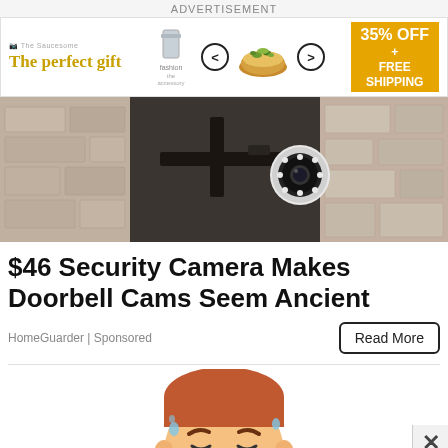ADVERTISEMENT
[Figure (screenshot): Banner advertisement: 'The perfect gift' with food imagery and '35% OFF + FREE SHIPPING' offer]
[Figure (photo): Security camera mounted on bracket against concrete wall background]
$46 Security Camera Makes Doorbell Cams Seem Ancient
HomeGuarder | Sponsored
Read More
[Figure (illustration): Cartoon illustration of a distressed face with sweat drops]
[Figure (screenshot): McAlister's Deli advertisement: 'Easy On-The-Go Options For You' with logo and navigation arrow]
Easy On-The-Go Options For You
McAlister's Deli